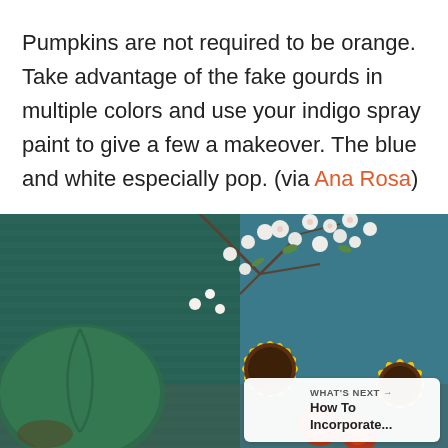Pumpkins are not required to be orange. Take advantage of the fake gourds in multiple colors and use your indigo spray paint to give a few a makeover. The blue and white especially pop. (via Ana Rosa)
[Figure (photo): A photo of yellow sunflowers, white blossoms, and orange/red flowers against a teal textured background. A blue circular heart/like button and share button are overlaid on the right side. A 'What's Next' card appears at the bottom right showing 'How To Incorporate...' with a thumbnail.]